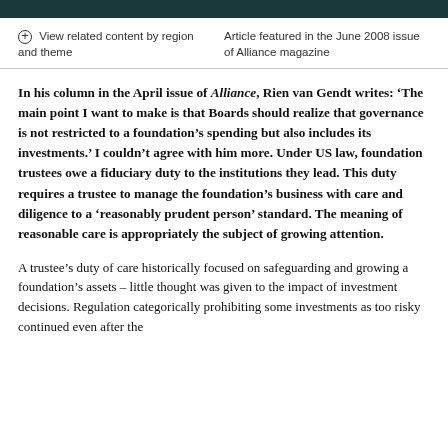View related content by region and theme | Article featured in the June 2008 issue of Alliance magazine
In his column in the April issue of Alliance, Rien van Gendt writes: ‘The main point I want to make is that Boards should realize that governance is not restricted to a foundation’s spending but also includes its investments.’ I couldn’t agree with him more. Under US law, foundation trustees owe a fiduciary duty to the institutions they lead. This duty requires a trustee to manage the foundation’s business with care and diligence to a ‘reasonably prudent person’ standard. The meaning of reasonable care is appropriately the subject of growing attention.
A trustee’s duty of care historically focused on safeguarding and growing a foundation’s assets – little thought was given to the impact of investment decisions. Regulation categorically prohibiting some investments as too risky continued even after the